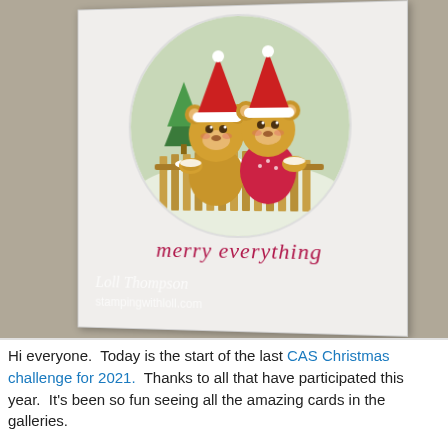[Figure (photo): A handmade Christmas greeting card leaning against a festive background. The card features two teddy bears wearing Santa hats and red scarves, peeking over a wooden fence inside a circular vignette. Below the illustration is cursive text reading 'merry everything' in pink/red. The card has a watermark reading 'Loll Thompson' and 'stampingwithloll.com'. The background shows blurred Christmas greenery and red ornaments.]
Hi everyone.  Today is the start of the last CAS Christmas challenge for 2021.  Thanks to all that have participated this year.  It's been so fun seeing all the amazing cards in the galleries.